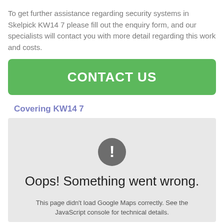To get further assistance regarding security systems in Skelpick KW14 7 please fill out the enquiry form, and our specialists will contact you with more detail regarding this work and costs.
[Figure (other): Green button labeled CONTACT US]
Covering KW14 7
[Figure (screenshot): Google Maps error state showing a grey box with an exclamation mark icon and text: Oops! Something went wrong. This page didn't load Google Maps correctly. See the JavaScript console for technical details.]